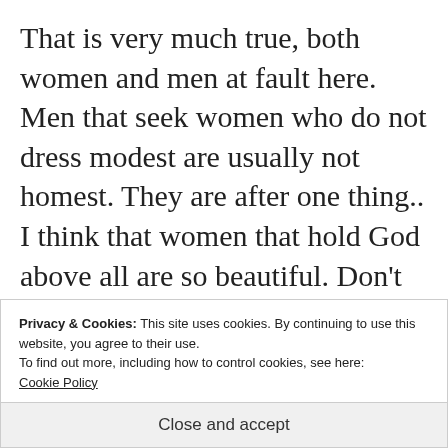That is very much true, both women and men at fault here. Men that seek women who do not dress modest are usually not homest. They are after one thing.. I think that women that hold God above all are so beautiful. Don't be distracted with all the looks because it's only a smoke cloud...
Privacy & Cookies: This site uses cookies. By continuing to use this website, you agree to their use.
To find out more, including how to control cookies, see here:
Cookie Policy
Close and accept
relationship, because you are